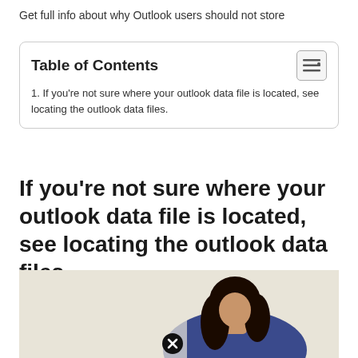Get full info about why Outlook users should not store
| Table of Contents |  |
| 1. If you're not sure where your outlook data file is located, see locating the outlook data files. |  |
If you're not sure where your outlook data file is located, see locating the outlook data files.
[Figure (photo): A woman with long dark hair wearing a blue top, posed against a light beige/cream background. A close/dismiss button (circle with X) is visible at the bottom center of the image.]